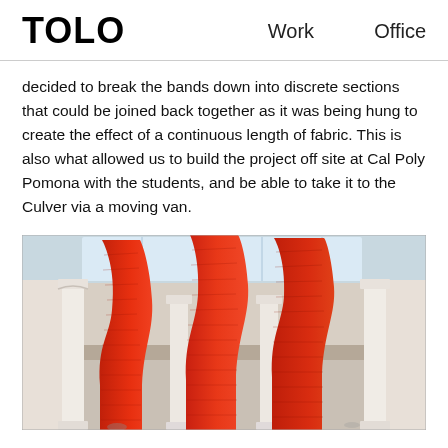TOLO   Work   Office
decided to break the bands down into discrete sections that could be joined back together as it was being hung to create the effect of a continuous length of fabric. This is also what allowed us to build the project off site at Cal Poly Pomona with the students, and be able to take it to the Culver via a moving van.
[Figure (photo): Interior photo of a large public space (likely a department store or museum) with tall white ornate columns and a glass skylight ceiling. Three large wave-shaped red fabric/material installations hang dramatically from the ceiling, creating bold sculptural forms. The red structures have a textured, layered surface.]
Peter Tolkin & Sarah Lorenzen Architecture      Instagram